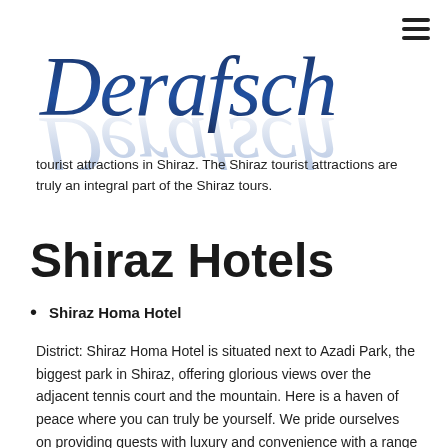[Figure (logo): Derafsch stylized italic logo in dark navy blue with reflection effect]
tourist attractions in Shiraz. The Shiraz tourist attractions are truly an integral part of the Shiraz tours.
Shiraz Hotels
Shiraz Homa Hotel
District: Shiraz Homa Hotel is situated next to Azadi Park, the biggest park in Shiraz, offering glorious views over the adjacent tennis court and the mountain. Here is a haven of peace where you can truly be yourself. We pride ourselves on providing guests with luxury and convenience with a range of facilities to satisfy all your requirements. Our facilities are planned to suit both business and leisure, and our professional staff are ready to help you in any way they can. The magnificent ornamental façade at Shiraz Homa Hotel gives way to a warmly inviting